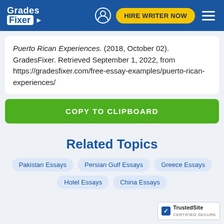Grades Fixer | HIRE WRITER NOW
Puerto Rican Experiences. (2018, October 02). GradesFixer. Retrieved September 1, 2022, from https://gradesfixer.com/free-essay-examples/puerto-rican-experiences/
COPY TO CLIPBOARD
Related Topics
Pakistan Essays
Persian Gulf Essays
Greece Essays
Hotel Essays
China Essays
[Figure (logo): TrustedSite CERTIFIED SECURE badge]